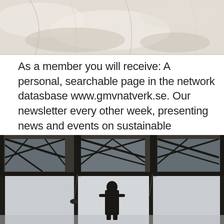[Figure (photo): Top portion of a photo showing white fabric or textile texture, partially cut off at top]
As a member you will receive: A personal, searchable page in the network datasbase www.gmvnatverk.se. Our newsletter every other week, presenting news and events on sustainable development. Incoming student? Welcome to the University of Gothenburg!
[Figure (photo): Black and white photo of a large indoor space with steel truss roof structure and a silhouette of a person standing looking out through large glass windows]